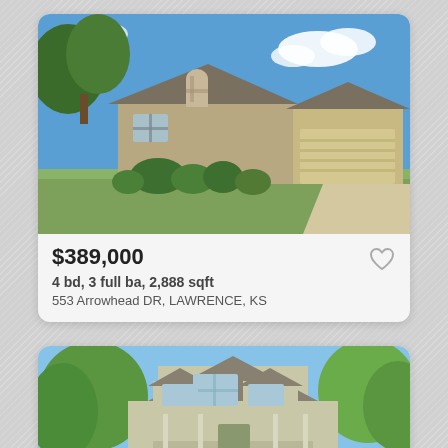[Figure (photo): Exterior photo of a single-story ranch-style home with brick/stone facade, arched window above front door, two-car garage, and landscaping with trees and shrubs. Blue sky with clouds.]
$389,000
4 bd, 3 full ba, 2,888 sqft
553 Arrowhead DR, LAWRENCE, KS
[Figure (photo): Exterior photo of a two-story craftsman-style home with dormers, large front porch, light green/beige siding, and mature trees. Blue sky background.]